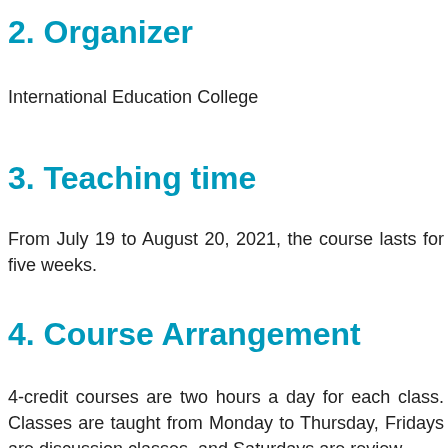2. Organizer
International Education College
3. Teaching time
From July 19 to August 20, 2021, the course lasts for five weeks.
4. Course Arrangement
4-credit courses are two hours a day for each class. Classes are taught from Monday to Thursday, Fridays are discussion classes, and Saturdays are review